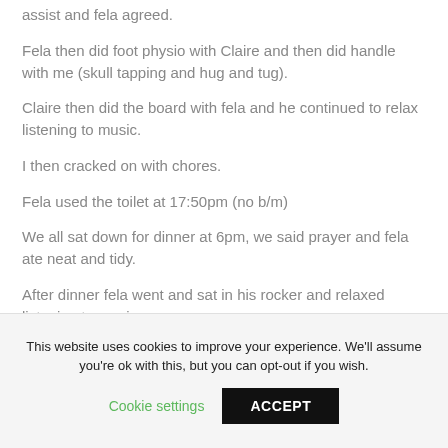assist and fela agreed.
Fela then did foot physio with Claire and then did handle with me (skull tapping and hug and tug).
Claire then did the board with fela and he continued to relax listening to music.
I then cracked on with chores.
Fela used the toilet at 17:50pm (no b/m)
We all sat down for dinner at 6pm, we said prayer and fela ate neat and tidy.
After dinner fela went and sat in his rocker and relaxed listening to music.
This website uses cookies to improve your experience. We'll assume you're ok with this, but you can opt-out if you wish. Cookie settings ACCEPT